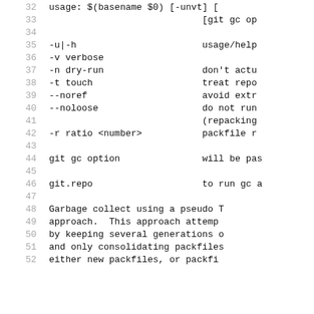32    usage: $(basename $0) [-unvt] [-
33                         [git gc op
34
35    -u|-h                  usage/help
36    -v verbose
37    -n dry-run             don't actu
38    -t touch               treat repo
39    --noref                avoid extr
40    --noloose              do not run
41                           (repacking
42    -r ratio <number>      packfile r
43
44    git gc option          will be pas
45
46    git.repo               to run gc
47
48    Garbage collect using a pseudo
49    approach.  This approach attemp
50    by keeping several generations
51    and only consolidating packfiles
52    either new packfiles, or packfi